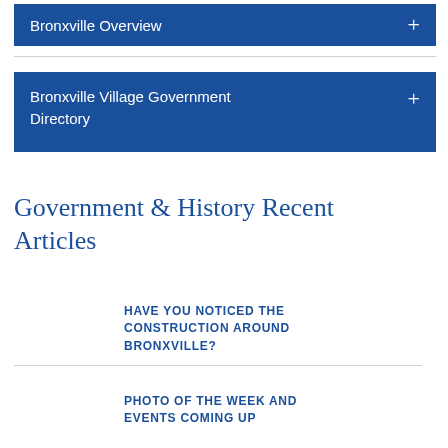Bronxville Overview
Bronxville Village Government Directory
Government & History Recent Articles
HAVE YOU NOTICED THE CONSTRUCTION AROUND BRONXVILLE?
PHOTO OF THE WEEK AND EVENTS COMING UP